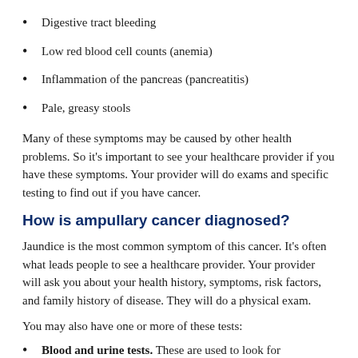Digestive tract bleeding
Low red blood cell counts (anemia)
Inflammation of the pancreas (pancreatitis)
Pale, greasy stools
Many of these symptoms may be caused by other health problems. So it's important to see your healthcare provider if you have these symptoms. Your provider will do exams and specific testing to find out if you have cancer.
How is ampullary cancer diagnosed?
Jaundice is the most common symptom of this cancer. It's often what leads people to see a healthcare provider. Your provider will ask you about your health history, symptoms, risk factors, and family history of disease. They will do a physical exam.
You may also have one or more of these tests:
Blood and urine tests. These are used to look for